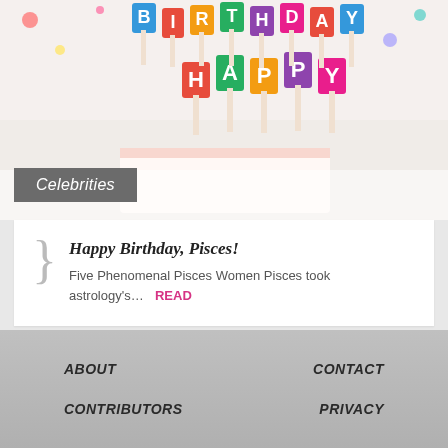[Figure (photo): Happy Birthday cake with colorful letter candles spelling HAPPY BIRTHDAY on a white background]
Celebrities
Happy Birthday, Pisces!
Five Phenomenal Pisces Women Pisces took astrology's...  READ
MORE
ABOUT   CONTACT   CONTRIBUTORS   PRIVACY